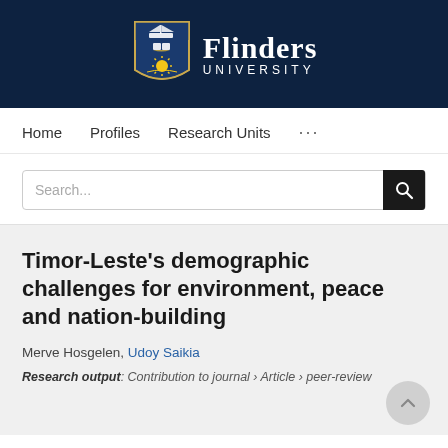[Figure (logo): Flinders University logo: shield crest with ship, sun and book on dark navy background, with 'Flinders UNIVERSITY' text in white]
Home   Profiles   Research Units   ...
Search...
Timor-Leste's demographic challenges for environment, peace and nation-building
Merve Hosgelen, Udoy Saikia
Research output: Contribution to journal › Article › peer-review